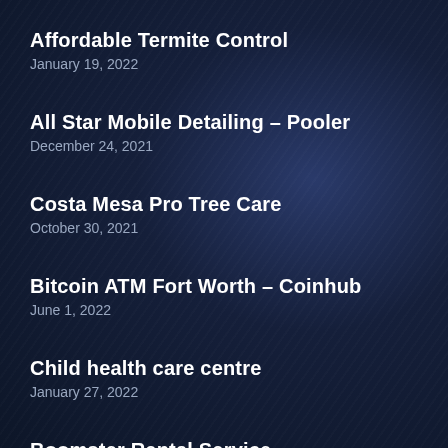Affordable Termite Control
January 19, 2022
All Star Mobile Detailing – Pooler
December 24, 2021
Costa Mesa Pro Tree Care
October 30, 2021
Bitcoin ATM Fort Worth – Coinhub
June 1, 2022
Child health care centre
January 27, 2022
Boomster Rental Service